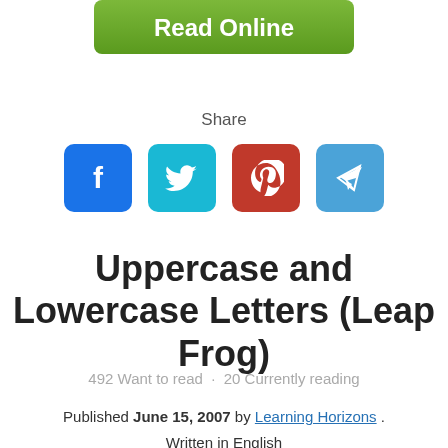[Figure (other): Green 'Read Online' button]
Share
[Figure (other): Social sharing icons: Facebook, Twitter, Pinterest, Telegram]
Uppercase and Lowercase Letters (Leap Frog)
492 Want to read · 20 Currently reading
Published June 15, 2007 by Learning Horizons . Written in English